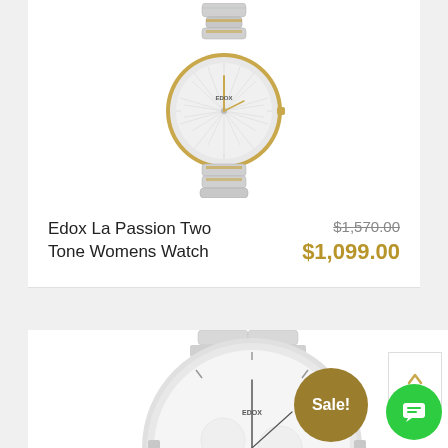[Figure (photo): Edox La Passion Two Tone Womens Watch product photo showing a silver and gold two-tone bracelet watch with sunburst dial pattern and EDOX branding]
Edox La Passion Two Tone Womens Watch  $1,570.00  $1,099.00
[Figure (photo): Edox chronograph mens watch with silver stainless steel bracelet and white dial with subdials, partial view with Sale! badge overlay]
Sale!